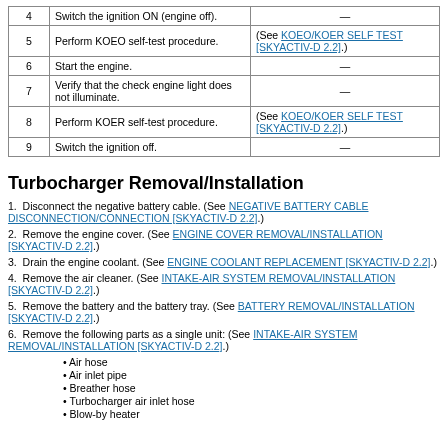| Step | Action | Reference |
| --- | --- | --- |
| 4 | Switch the ignition ON (engine off). | — |
| 5 | Perform KOEO self-test procedure. | (See KOEO/KOER SELF TEST [SKYACTIV-D 2.2].) |
| 6 | Start the engine. | — |
| 7 | Verify that the check engine light does not illuminate. | — |
| 8 | Perform KOER self-test procedure. | (See KOEO/KOER SELF TEST [SKYACTIV-D 2.2].) |
| 9 | Switch the ignition off. | — |
Turbocharger Removal/Installation
1.  Disconnect the negative battery cable. (See NEGATIVE BATTERY CABLE DISCONNECTION/CONNECTION [SKYACTIV-D 2.2].)
2.  Remove the engine cover. (See ENGINE COVER REMOVAL/INSTALLATION [SKYACTIV-D 2.2].)
3.  Drain the engine coolant. (See ENGINE COOLANT REPLACEMENT [SKYACTIV-D 2.2].)
4.  Remove the air cleaner. (See INTAKE-AIR SYSTEM REMOVAL/INSTALLATION [SKYACTIV-D 2.2].)
5.  Remove the battery and the battery tray. (See BATTERY REMOVAL/INSTALLATION [SKYACTIV-D 2.2].)
6.  Remove the following parts as a single unit: (See INTAKE-AIR SYSTEM REMOVAL/INSTALLATION [SKYACTIV-D 2.2].)
• Air hose
• Air inlet pipe
• Breather hose
• Turbocharger air inlet hose
• Blow-by heater